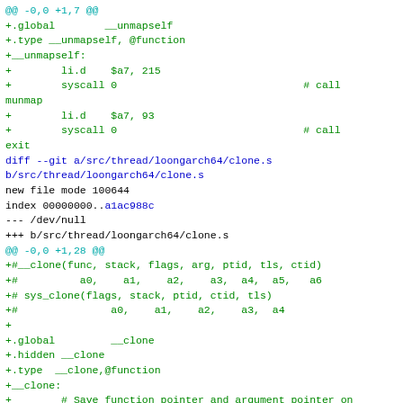@@ -0,0 +1,7 @@
+.global        __unmapself
+.type __unmapself, @function
+__unmapself:
+        li.d    $a7, 215
+        syscall 0                              # call munmap
+        li.d    $a7, 93
+        syscall 0                              # call exit
diff --git a/src/thread/loongarch64/clone.s b/src/thread/loongarch64/clone.s
new file mode 100644
index 00000000..a1ac988c
--- /dev/null
+++ b/src/thread/loongarch64/clone.s
@@ -0,0 +1,28 @@
+#__clone(func, stack, flags, arg, ptid, tls, ctid)
+#          a0,    a1,    a2,    a3,  a4,  a5,   a6
+# sys_clone(flags, stack, ptid, ctid, tls)
+#               a0,    a1,    a2,    a3,  a4
+
+.global         __clone
+.hidden __clone
+.type  __clone,@function
+__clone:
+        # Save function pointer and argument pointer on new thread stack
+        addi.d  $a1, $a1, -16
+        st.d    $a0, $a1, 0    # save function pointer